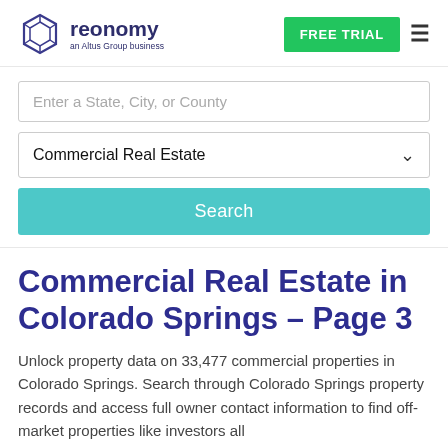[Figure (logo): Reonomy logo — geometric hexagonal diamond shape in indigo/purple outline, followed by text 'reonomy' in dark navy and 'an Altus Group business' in smaller text below]
FREE TRIAL
Enter a State, City, or County
Commercial Real Estate
Search
Commercial Real Estate in Colorado Springs – Page 3
Unlock property data on 33,477 commercial properties in Colorado Springs. Search through Colorado Springs property records and access full owner contact information to find off-market properties like investors all